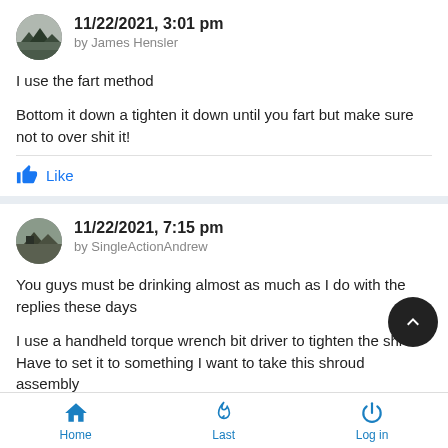11/22/2021, 3:01 pm by James Hensler
I use the fart method

Bottom it down a tighten it down until you fart but make sure not to over shit it!
11/22/2021, 7:15 pm by SingleActionAndrew
You guys must be drinking almost as much as I do with the replies these days

I use a handheld torque wrench bit driver to tighten the shr… Have to set it to something I want to take this shroud assembly
Home  Last  Log in